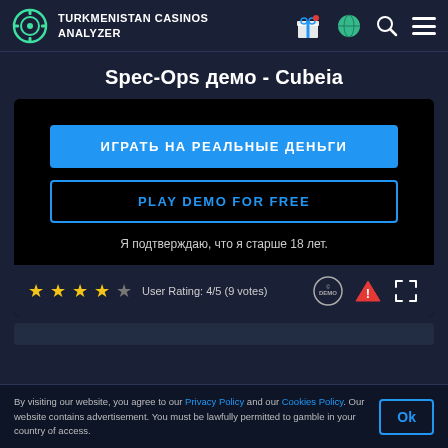TURKMENISTAN CASINOS ANALYZER
Spec-Ops демо - Cubeia
[Figure (screenshot): Game demo overlay with two buttons: 'ИГРАТЬ НА РЕАЛЬНЫЕ ДЕНЬГИ' (blue filled) and 'PLAY DEMO FOR FREE' (blue outlined), plus age confirmation text 'Я подтверждаю, что я старше 18 лет.']
User Rating: 4/5 (9 votes)
By visiting our website, you agree to our Privacy Policy and our Cookies Policy. Our website contains advertisement. You must be lawfully permitted to gamble in your country of access.